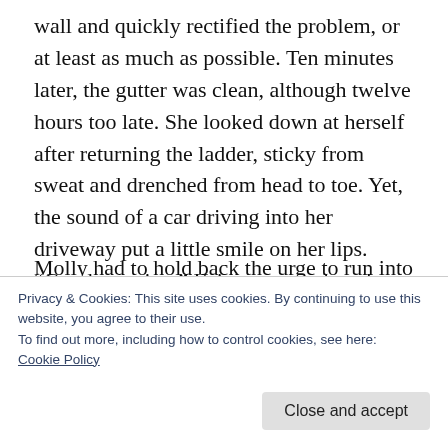wall and quickly rectified the problem, or at least as much as possible. Ten minutes later, the gutter was clean, although twelve hours too late. She looked down at herself after returning the ladder, sticky from sweat and drenched from head to toe. Yet, the sound of a car driving into her driveway put a little smile on her lips.
“Good morning,” Kristen greeted as she climbed out of her vehicle.
Molly had to hold back the urge to run into her
Privacy & Cookies: This site uses cookies. By continuing to use this website, you agree to their use.
To find out more, including how to control cookies, see here:
Cookie Policy
Close and accept
“This is worse than I expected. I don’t think